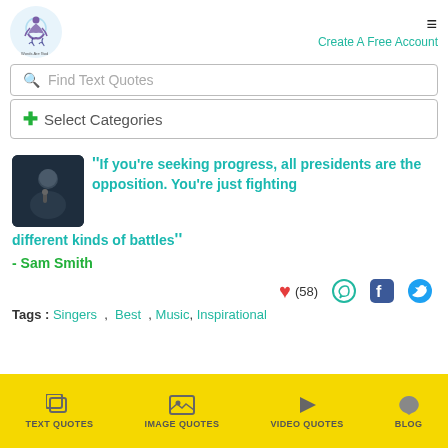[Figure (logo): Words Are God logo — meditating figure with infinity symbol, watercolor style]
Create A Free Account
Find Text Quotes
+ Select Categories
"If you're seeking progress, all presidents are the opposition. You're just fighting different kinds of battles"
- Sam Smith
(58)
Tags :  Singers  ,  Best  , Music, Inspirational
TEXT QUOTES  IMAGE QUOTES  VIDEO QUOTES  BLOG